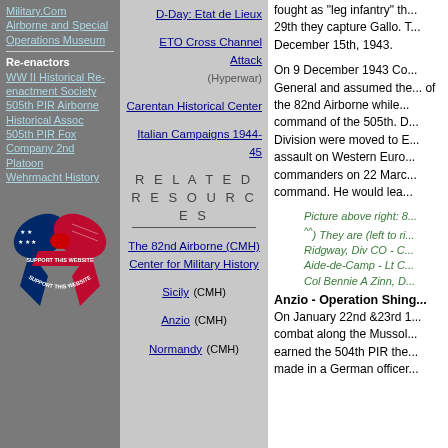Military.Com
Airborne and Special Operations Museum
Re-enactors
WW II Historical Re- enactment Society
505th PIR Airborne Historical Assoc
505th PIR Fox Company 2nd Platoon
Wehrmacht History
[Figure (illustration): Patriotic ribbon/bow with American flag design and text 'SUPPORT THIS WEBSITE']
D-Day: Etat de Lieux
ETO Cross Channel Attack (Hyperwar)
Carentan Historical Center
Italian Campaigns 1944-45
RELATED RESOURCES
The 82nd Airborne (CMH) Center for Military History
Sicily (CMH)
Anzio (CMH)
Normandy (CMH)
fought as "leg infantry" th... 29th they capture Gallo. T... December 15th, 1943.
On 9 December 1943 Co... General and assumed the... of the 82nd Airborne while... command of the 505th. D... Division were moved to E... assault on Western Euro... commanders on 22 Marc... command. He would lea...
Picture above right: 8... ^^ They are (left to ri... Ridgway, Div CO - C... Aide-de-Camp - Lt C... Col Bennie A Zinn, D...
Anzio - Operation Shing...
On January 22nd &23rd 1... combat along the Mussol... earned the 504th PIR the... made in a German officer...